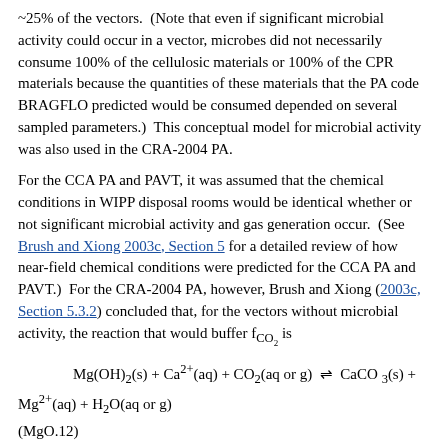~25% of the vectors.  (Note that even if significant microbial activity could occur in a vector, microbes did not necessarily consume 100% of the cellulosic materials or 100% of the CPR materials because the quantities of these materials that the PA code BRAGFLO predicted would be consumed depended on several sampled parameters.)  This conceptual model for microbial activity was also used in the CRA-2004 PA.
For the CCA PA and PAVT, it was assumed that the chemical conditions in WIPP disposal rooms would be identical whether or not significant microbial activity and gas generation occur.  (See Brush and Xiong 2003c, Section 5 for a detailed review of how near-field chemical conditions were predicted for the CCA PA and PAVT.)  For the CRA-2004 PA, however, Brush and Xiong (2003c, Section 5.3.2) concluded that, for the vectors without microbial activity, the reaction that would buffer f_CO2 is
not the brucite-hydromagnesite (5424) carbonation reaction (Reaction [MgO.7]) (Section MgO-4.2.1 and Section MgO-5.1).